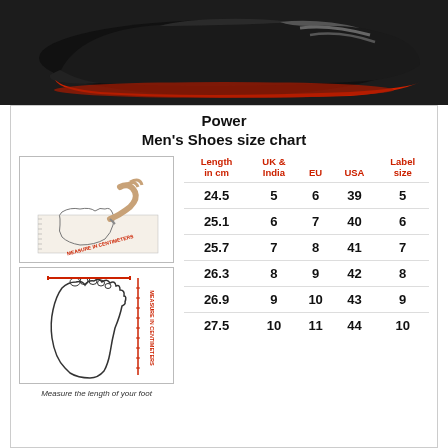[Figure (photo): Black and red men's athletic/trail running shoe viewed from the side against a dark background]
Power
Men's Shoes size chart
[Figure (illustration): Two diagrams showing how to measure foot length in centimeters: top diagram shows a hand tracing foot outline on paper, bottom diagram shows a foot outline with a red measurement line and 'MEASURE IN CENTIMETERS' text]
| Length in cm | UK & India | EU | USA | Label size |
| --- | --- | --- | --- | --- |
| 24.5 | 5 | 6 | 39 | 5 |
| 25.1 | 6 | 7 | 40 | 6 |
| 25.7 | 7 | 8 | 41 | 7 |
| 26.3 | 8 | 9 | 42 | 8 |
| 26.9 | 9 | 10 | 43 | 9 |
| 27.5 | 10 | 11 | 44 | 10 |
Measure the length of your foot